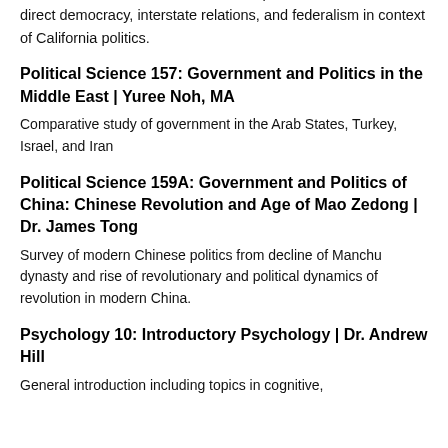and its checks and balances. Other topics covered include direct democracy, interstate relations, and federalism in context of California politics.
Political Science 157: Government and Politics in the Middle East | Yuree Noh, MA
Comparative study of government in the Arab States, Turkey, Israel, and Iran
Political Science 159A: Government and Politics of China: Chinese Revolution and Age of Mao Zedong | Dr. James Tong
Survey of modern Chinese politics from decline of Manchu dynasty and rise of revolutionary and political dynamics of revolution in modern China.
Psychology 10: Introductory Psychology | Dr. Andrew Hill
General introduction including topics in cognitive,